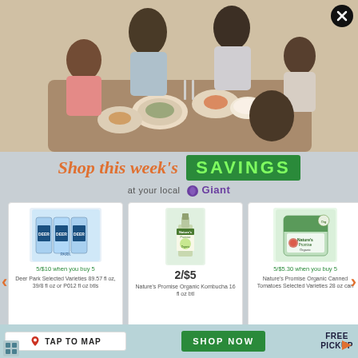[Figure (photo): Family seated around a dining table sharing a meal, smiling and enjoying food together. Multiple generations including children and elderly.]
Shop this week's SAVINGS
at your local Giant
[Figure (illustration): Product card: Deer Park Selected Varieties 89.57 fl oz, 39/8 fl oz or P012 fl oz btls. Deal: 5/$10 when you buy 5]
[Figure (illustration): Product card: Nature's Promise Organic Kombucha 16 fl oz btl. Deal: 2/$5]
[Figure (illustration): Product card: Nature's Promise Organic Canned Tomatoes Selected Varieties 28 oz can. Deal: 5/$5.30 when you buy 5]
TAP TO MAP
SHOP NOW
FREE PICKUP